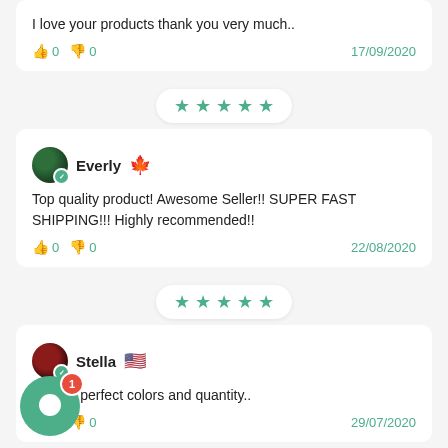I love your products thank you very much..
👍 0  👎 0    17/09/2020
[Figure (other): 5-star rating badge in teal/green stars on white pill background]
Everly 🍁
Top quality product! Awesome Seller!! SUPER FAST SHIPPING!!! Highly recommended!!
👍 0  👎 0    22/08/2020
[Figure (other): 5-star rating badge in teal/green stars on white pill background]
Stella 🇺🇸
Arrived perfect colors and quantity..
👍 0  👎 0    29/07/2020
[Figure (other): Green chat widget circle with notification badge showing 1]